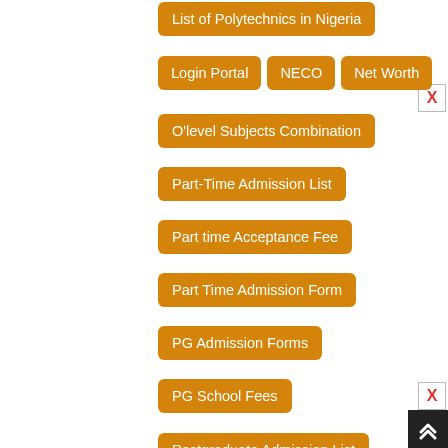List of Polytechnics in Nigeria
Login Portal
NECO
Net Worth
O'level Subjects Combination
Part-Time Admission List
Part time Acceptance Fee
Part Time Admission Form
PG Admission Forms
PG School Fees
Postgraduate Admission List
Postgraduate Part Time Admission Form
Postgraduate Part Time Admission List
Post UTME Forms
Post UTME Result